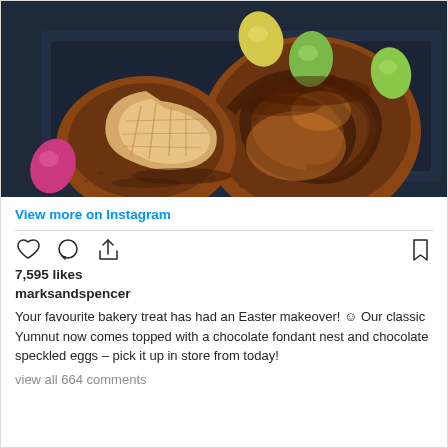[Figure (photo): Close-up photo of a chocolate swirl pastry (Yumnut) with a bitten piece showing flaky interior, surrounded by colorful Easter chocolate speckled eggs (yellow, green, pink) on a dark blue slate background.]
View more on Instagram
[Figure (infographic): Instagram action icons: heart (like), speech bubble (comment), share arrow, bookmark]
7,595 likes
marksandspencer
Your favourite bakery treat has had an Easter makeover! ☺ Our classic Yumnut now comes topped with a chocolate fondant nest and chocolate speckled eggs – pick it up in store from today!
view all 664 comments